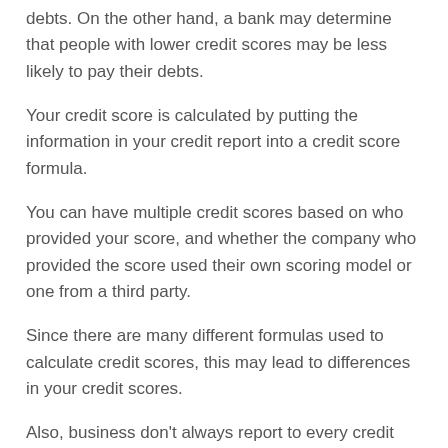debts. On the other hand, a bank may determine that people with lower credit scores may be less likely to pay their debts.
Your credit score is calculated by putting the information in your credit report into a credit score formula.
You can have multiple credit scores based on who provided your score, and whether the company who provided the score used their own scoring model or one from a third party.
Since there are many different formulas used to calculate credit scores, this may lead to differences in your credit scores.
Also, business don't always report to every credit reporting company as I mentioned above. And even if they do, they may send their information on different days.